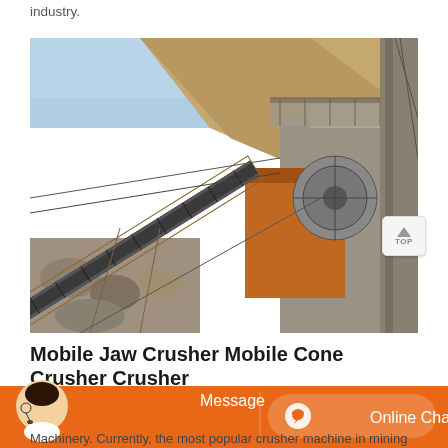industry.
[Figure (photo): Industrial jaw crusher / cone crusher machinery at a mining or quarrying site, showing conveyor belts, structural steel framework, orange crusher unit with flywheel, rocky hillside in background]
Mobile Jaw Crusher Mobile Cone Crusher Crusher
[Figure (screenshot): Website chat bar with customer service avatar, Message button, and Online Chat button on orange background]
Machinery. Currently, the most popular crusher machine in mining